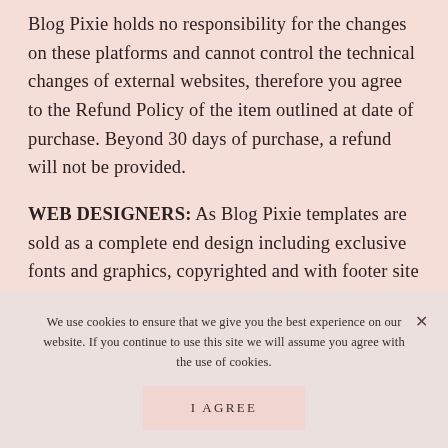Blog Pixie holds no responsibility for the changes on these platforms and cannot control the technical changes of external websites, therefore you agree to the Refund Policy of the item outlined at date of purchase. Beyond 30 days of purchase, a refund will not be provided.
WEB DESIGNERS: As Blog Pixie templates are sold as a complete end design including exclusive fonts and graphics, copyrighted and with footer site design credit, web designers do not have
We use cookies to ensure that we give you the best experience on our website. If you continue to use this site we will assume you agree with the use of cookies.
I AGREE